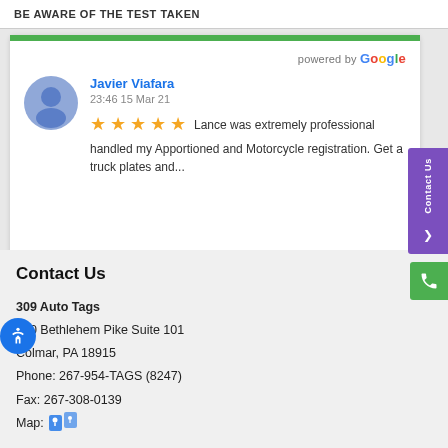powered by Google
Javier Viafara
23:46 15 Mar 21
★★★★★ Lance was extremely professional handled my Apportioned and Motorcycle registration. Get a truck plates and...
Contact Us
309 Auto Tags
120 Bethlehem Pike Suite 101
Colmar, PA 18915
Phone: 267-954-TAGS (8247)
Fax: 267-308-0139
Map: